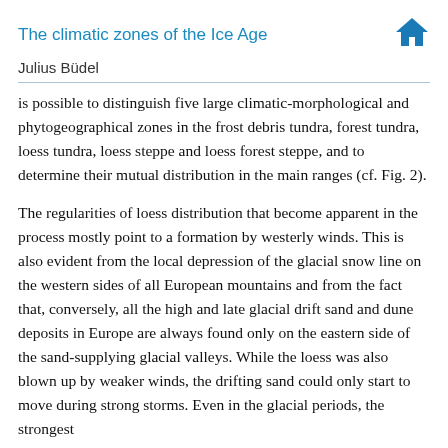The climatic zones of the Ice Age
Julius Büdel
is possible to distinguish five large climatic-morphological and phytogeographical zones in the frost debris tundra, forest tundra, loess tundra, loess steppe and loess forest steppe, and to determine their mutual distribution in the main ranges (cf. Fig. 2).
The regularities of loess distribution that become apparent in the process mostly point to a formation by westerly winds. This is also evident from the local depression of the glacial snow line on the western sides of all European mountains and from the fact that, conversely, all the high and late glacial drift sand and dune deposits in Europe are always found only on the eastern side of the sand-supplying glacial valleys. While the loess was also blown up by weaker winds, the drifting sand could only start to move during strong storms. Even in the glacial periods, the strongest